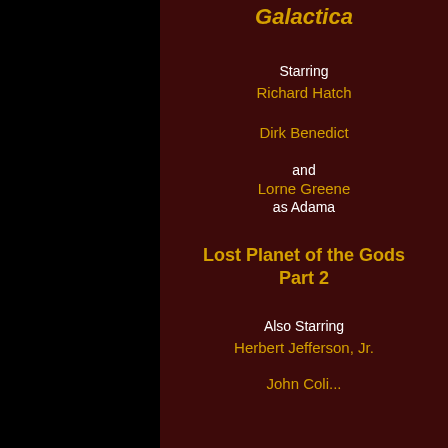Galactica
Starring
Richard Hatch
Dirk Benedict
and
Lorne Greene
as Adama
Lost Planet of the Gods Part 2
Also Starring
Herbert Jefferson, Jr.
John Coli...